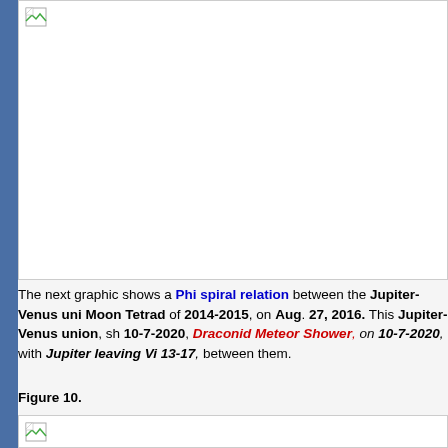[Figure (photo): Large image placeholder (broken image icon visible in top-left corner), white background with border]
The next graphic shows a Phi spiral relation between the Jupiter-Venus uni Moon Tetrad of 2014-2015, on Aug. 27, 2016. This Jupiter-Venus union, sh 10-7-2020, Draconid Meteor Shower, on 10-7-2020, with Jupiter leaving Vi 13-17, between them.
Figure 10.
[Figure (photo): Second image placeholder (broken image icon visible), white background with border]